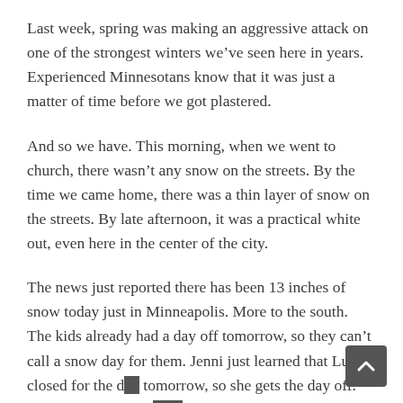Last week, spring was making an aggressive attack on one of the strongest winters we've seen here in years. Experienced Minnesotans know that it was just a matter of time before we got plastered.
And so we have. This morning, when we went to church, there wasn't any snow on the streets. By the time we came home, there was a thin layer of snow on the streets. By late afternoon, it was a practical white out, even here in the center of the city.
The news just reported there has been 13 inches of snow today just in Minneapolis. More to the south. The kids already had a day off tomorrow, so they can't call a snow day for them. Jenni just learned that Luther closed for the day tomorrow, so she gets the day off. Me? Looks like I'll have to wake up early and see if I'm heading out to brave the